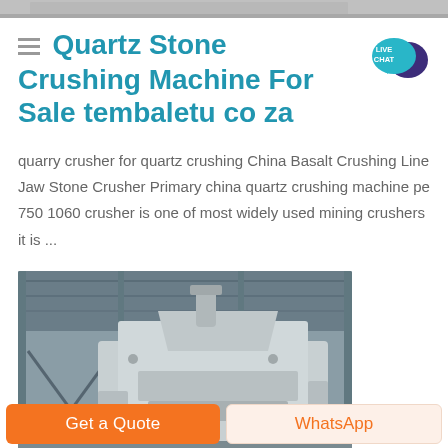[Figure (photo): Partial top strip of a machine or equipment photo visible at the very top of the page]
Quartz Stone Crushing Machine For Sale tembaletu co za
quarry crusher for quartz crushing China Basalt Crushing Line Jaw Stone Crusher Primary china quartz crushing machine pe 750 1060 crusher is one of most widely used mining crushers it is ...
[Figure (photo): Industrial photo of a large stone crushing jaw crusher machine in a warehouse/factory setting. The machine is grey/white colored and sits inside a steel-framed industrial building.]
Get a Quote
WhatsApp